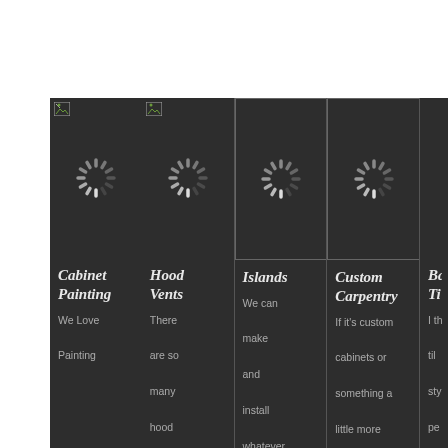[Figure (screenshot): Dark-themed website section showing a grid of service categories with loading spinner placeholders and text descriptions below. Columns: Cabinet Painting, Hood Vents, Islands, Custom Carpentry, and a partially visible fifth column.]
Cabinet Painting
We Love Painting
Hood Vents
There are so many hood vent colors
Islands
We can make and install whatever cabinets
Custom Carpentry
If it's custom cabinets or something a little more complicated, we can get it
Ba Ti
I th til sty pe thi